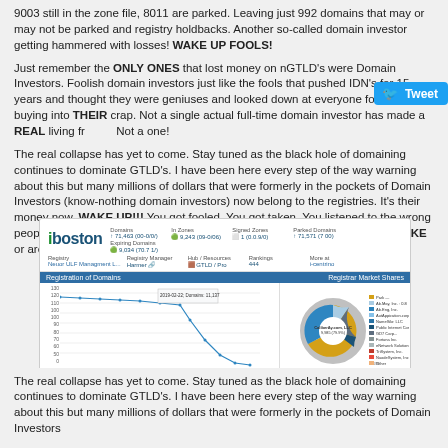9003 still in the zone file, 8011 are parked. Leaving just 992 domains that may or may not be parked and registry holdbacks. Another so-called domain investor getting hammered with losses! WAKE UP FOOLS!
Just remember the ONLY ONES that lost money on nGTLD's were Domain Investors. Foolish domain investors just like the fools that pushed IDN's for 15 years and thought they were geniuses and looked down at everyone for not buying into THEIR crap. Not a single actual full-time domain investor has made a REAL living from it. Not a one!
The real collapse has yet to come. Stay tuned as the black hole of domaining continues to dominate GTLD's. I have been here every step of the way warning about this but many millions of dollars that were formerly in the pockets of Domain Investors (know-nothing domain investors) now belong to the registries. It's their money now. WAKE UP!!! You got fooled. You got taken. You listened to the wrong people geniuses! They sold you a bill of goods and now many of you are BROKE or are about to be.
[Figure (screenshot): Screenshot of a .boston domain registry statistics page showing domain counts, registrar info, a declining line chart of registrations over time, and a donut chart of Registrar Market Share]
The real collapse has yet to come. Stay tuned as the black hole of domaining continues to dominate GTLD's. I have been here every step of the way warning about this but many millions of dollars that were formerly in the pockets of Domain Investors